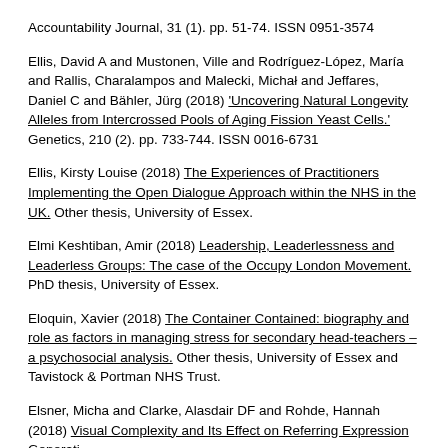Accountability Journal, 31 (1). pp. 51-74. ISSN 0951-3574
Ellis, David A and Mustonen, Ville and Rodríguez-López, María and Rallis, Charalampos and Malecki, Michał and Jeffares, Daniel C and Bähler, Jürg (2018) 'Uncovering Natural Longevity Alleles from Intercrossed Pools of Aging Fission Yeast Cells.' Genetics, 210 (2). pp. 733-744. ISSN 0016-6731
Ellis, Kirsty Louise (2018) The Experiences of Practitioners Implementing the Open Dialogue Approach within the NHS in the UK. Other thesis, University of Essex.
Elmi Keshtiban, Amir (2018) Leadership, Leaderlessness and Leaderless Groups: The case of the Occupy London Movement. PhD thesis, University of Essex.
Eloquin, Xavier (2018) The Container Contained: biography and role as factors in managing stress for secondary head-teachers – a psychosocial analysis. Other thesis, University of Essex and Tavistock & Portman NHS Trust.
Elsner, Micha and Clarke, Alasdair DF and Rohde, Hannah (2018) Visual Complexity and Its Effect on Referring Expression Generation